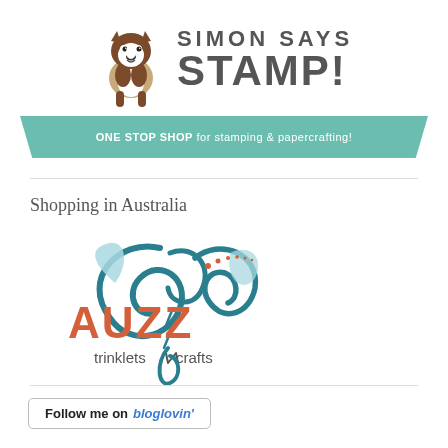[Figure (logo): Simon Says Stamp logo with Boston Terrier dog illustration and text SIMON SAYS STAMP! in dark gray bold uppercase letters]
[Figure (logo): Teal banner ribbon reading ONE STOP SHOP for stamping & papercrafting! in white bold text]
Shopping in Australia
[Figure (logo): AUZZ trinklets N crafts logo with teal decorative swirl design and orange/red AUZZ text]
[Figure (logo): Follow me on bloglovin button with border, black bold text and blue italic bloglovin text]